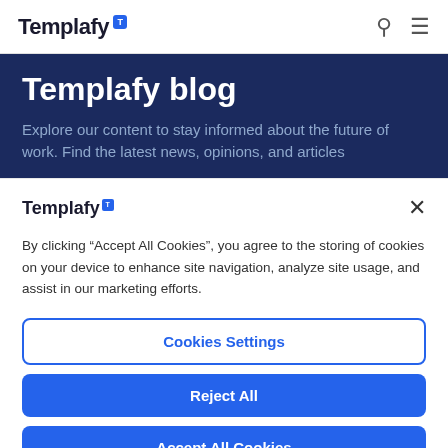Templafy
Templafy blog
Explore our content to stay informed about the future of work. Find the latest news, opinions, and articles
[Figure (logo): Templafy logo with blue T badge]
By clicking “Accept All Cookies”, you agree to the storing of cookies on your device to enhance site navigation, analyze site usage, and assist in our marketing efforts.
Cookies Settings
Reject All
Accept All Cookies